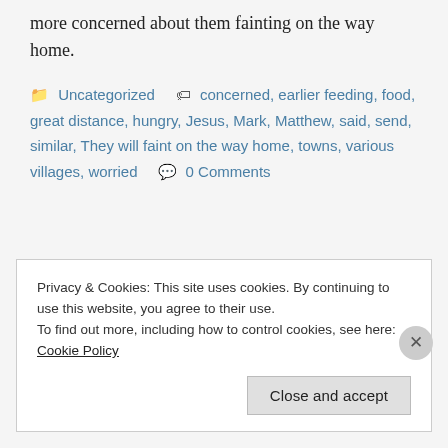more concerned about them fainting on the way home.
Uncategorized · concerned, earlier feeding, food, great distance, hungry, Jesus, Mark, Matthew, said, send, similar, They will faint on the way home, towns, various villages, worried · 0 Comments
Privacy & Cookies: This site uses cookies. By continuing to use this website, you agree to their use.
To find out more, including how to control cookies, see here: Cookie Policy